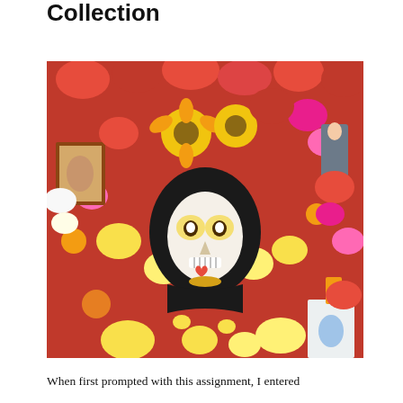Collection
[Figure (photo): A woman lying among colorful flowers, fruits, and religious icons, wearing a Day of the Dead sugar skull face paint (calavera makeup) and a black dress with floral embroidery. She is surrounded by vibrant red, yellow, orange, pink, and white flowers, oranges, and Catholic religious imagery.]
When first prompted with this assignment, I entered